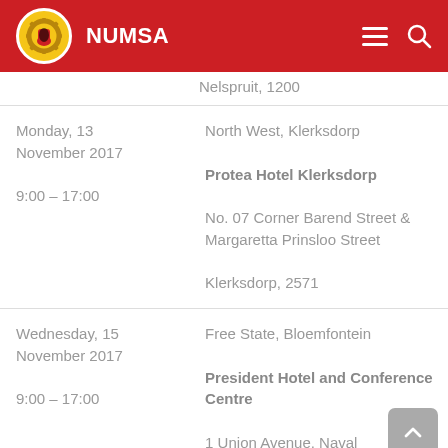NUMSA
Nelspruit, 1200
| Date/Time | Venue |
| --- | --- |
| Monday, 13 November 2017
9:00 – 17:00 | North West, Klerksdorp
Protea Hotel Klerksdorp
No. 07 Corner Barend Street & Margaretta Prinsloo Street
Klerksdorp, 2571 |
| Wednesday, 15 November 2017
9:00 – 17:00 | Free State, Bloemfontein
President Hotel and Conference Centre
1 Union Avenue, Nava... |